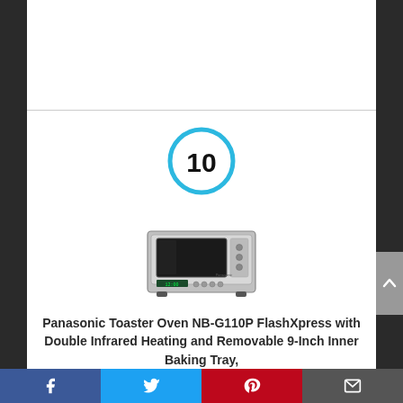[Figure (other): Number 10 badge — a bold blue circle outline with the number 10 in large black text inside]
[Figure (photo): Panasonic NB-G110P FlashXpress toaster oven — silver/stainless appliance with dark glass door and control panel]
Panasonic Toaster Oven NB-G110P FlashXpress with Double Infrared Heating and Removable 9-Inch Inner Baking Tray,
Facebook | Twitter | Pinterest | Email (social share bar)